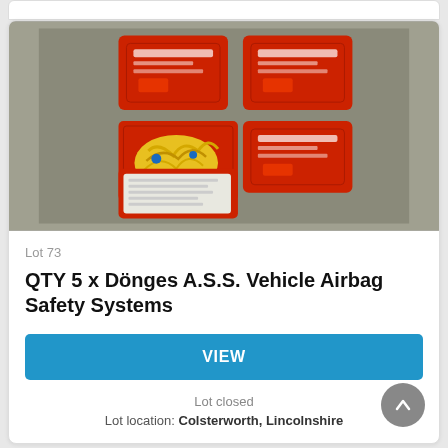[Figure (photo): Four red plastic cases (Dönges A.S.S. Vehicle Airbag Safety Systems) arranged in a cross/plus pattern on a grey concrete floor. One case is open showing yellow straps/webbing, another is open showing white contents/instruction sheet.]
Lot 73
QTY 5 x Dönges A.S.S. Vehicle Airbag Safety Systems
VIEW
Lot closed
Lot location: Colsterworth, Lincolnshire